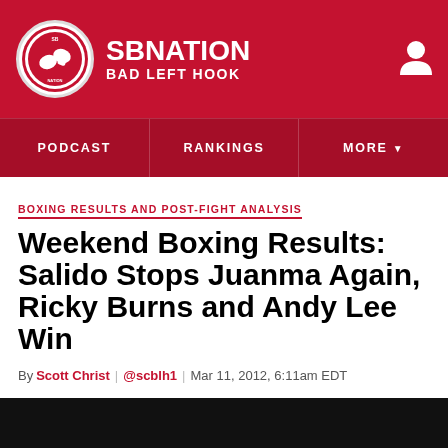SBNATION BAD LEFT HOOK
PODCAST | RANKINGS | MORE
BOXING RESULTS AND POST-FIGHT ANALYSIS
Weekend Boxing Results: Salido Stops Juanma Again, Ricky Burns and Andy Lee Win
By Scott Christ | @scblh1 | Mar 11, 2012, 6:11am EDT
SHARE